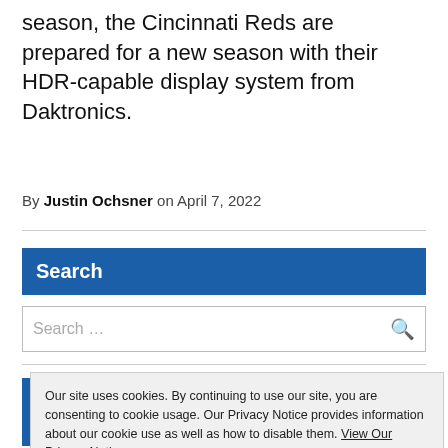season, the Cincinnati Reds are prepared for a new season with their HDR-capable display system from Daktronics.
By Justin Ochsner on April 7, 2022
Search
Search ...
Our site uses cookies. By continuing to use our site, you are consenting to cookie usage. Our Privacy Notice provides information about our cookie use as well as how to disable them. View Our Privacy Notice
Close and accept